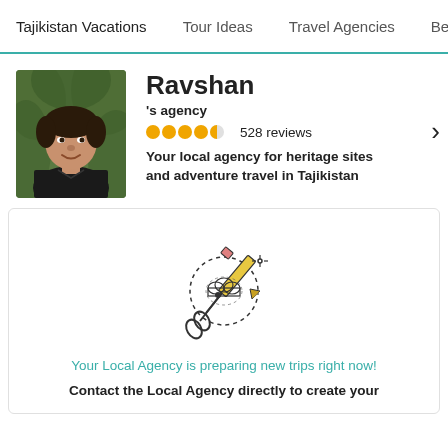Tajikistan Vacations   Tour Ideas   Travel Agencies   Best
[Figure (photo): Portrait photo of Ravshan, a man with dark hair wearing a black polo shirt, with green foliage in the background]
Ravshan
's agency
●●●●◐ 528 reviews
Your local agency for heritage sites and adventure travel in Tajikistan
[Figure (illustration): Line art illustration of scissors cutting a dotted path, representing custom trip creation]
Your Local Agency is preparing new trips right now!
Contact the Local Agency directly to create your